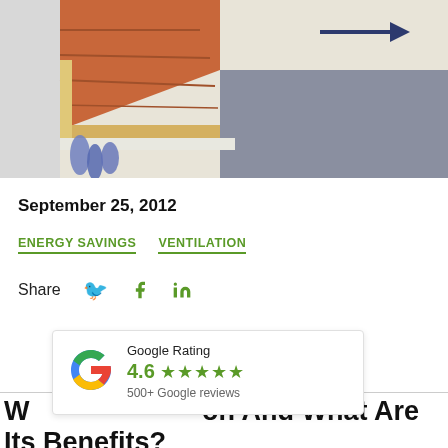[Figure (illustration): Illustration of a roof cross-section showing ventilation airflow with an arrow pointing outward through the roof, orange/red shingles, yellow fascia board, and blue insulation material hanging inside; gray rectangle represents a component panel.]
September 25, 2012
ENERGY SAVINGS   VENTILATION
Share
[Figure (infographic): Google Rating widget showing the Google 'G' logo, rating of 4.6 with 5 green stars, and '500+ Google reviews' text.]
W... ...on And What Are Its Benefits?